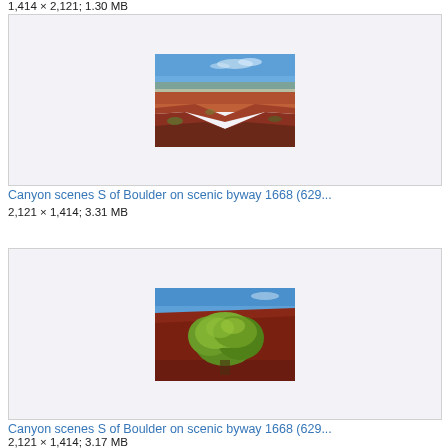1,414 × 2,121; 1.30 MB
[Figure (photo): Canyon scenes S of Boulder on scenic byway 1668 — aerial view of red rock canyon landscape with blue sky]
Canyon scenes S of Boulder on scenic byway 1668 (629...
2,121 × 1,414; 3.31 MB
[Figure (photo): Canyon scenes S of Boulder on scenic byway 1668 — green tree against red rock hillside with blue sky]
Canyon scenes S of Boulder on scenic byway 1668 (629...
2,121 × 1,414; 3.17 MB